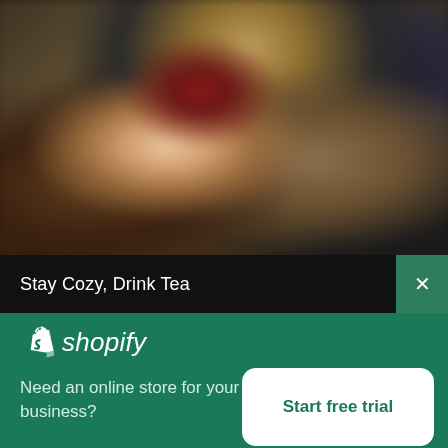[Figure (photo): Blurred close-up photo of a person holding a dark red heart-shaped tea cup, with colorful fabric or textiles in the background in gold, white, grey and brown tones.]
Stay Cozy, Drink Tea
[Figure (logo): Shopify logo: white shopping bag icon with 'S' followed by italic white text 'shopify']
Need an online store for your business?
Start free trial